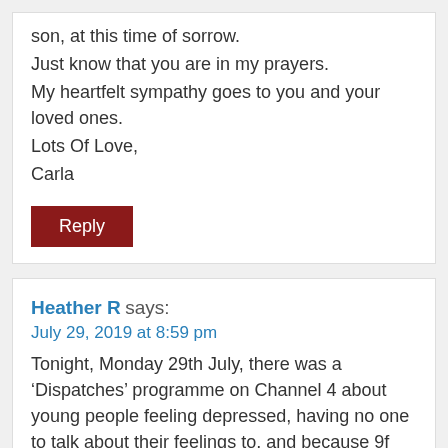My sincerest thoughts are with you and your son, at this time of sorrow.
Just know that you are in my prayers.
My heartfelt sympathy goes to you and your loved ones.
Lots Of Love,
Carla
Reply
Heather R says:
July 29, 2019 at 8:59 pm
Tonight, Monday 29th July, there was a ‘Dispatches’ programme on Channel 4 about young people feeling depressed, having no one to talk about their feelings to, and because 9f the long wait for Therapy, getting prescribed antidepressants which are not really helpful,